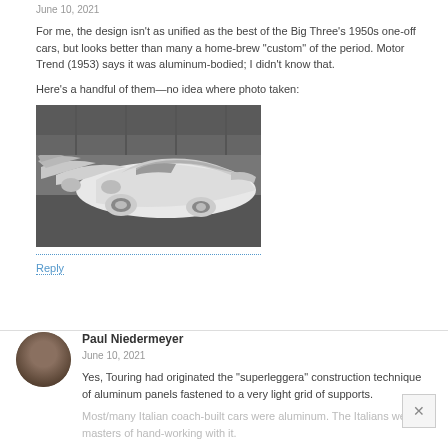June 10, 2021
For me, the design isn't as unified as the best of the Big Three's 1950s one-off cars, but looks better than many a home-brew "custom" of the period. Motor Trend (1953) says it was aluminum-bodied; I didn't know that.
Here's a handful of them—no idea where photo taken:
[Figure (photo): Black and white photograph showing multiple streamlined 1950s concept/custom cars lined up, white paint, whitewall tires, viewed from above at an angle]
Reply
Paul Niedermeyer
June 10, 2021
Yes, Touring had originated the "superleggera" construction technique of aluminum panels fastened to a very light grid of supports.
Most/many Italian coach-built cars were aluminum. The Italians were masters of hand-working with it.
Reply